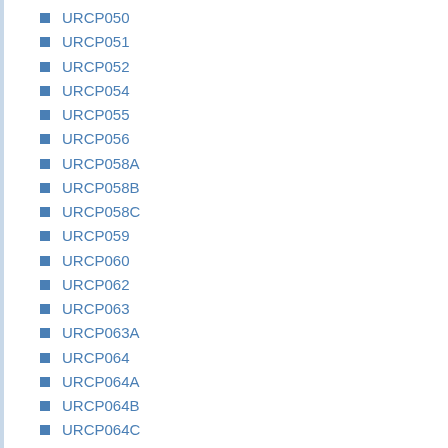URCP050
URCP051
URCP052
URCP054
URCP055
URCP056
URCP058A
URCP058B
URCP058C
URCP059
URCP060
URCP062
URCP063
URCP063A
URCP064
URCP064A
URCP064B
URCP064C
URCP064D
URCP064E
URCP064F
URCP065C
URCP066
URCP068
URCP069
URCP069A
URCP069B